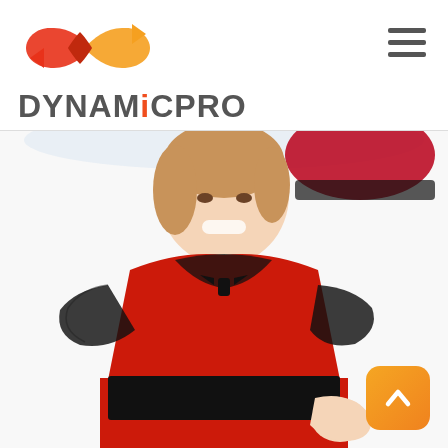[Figure (logo): DynamicPro logo: orange-red interlocking ribbon/infinity-style monogram above the text DYNAMICPRO in bold dark grey with orange letter I]
[Figure (photo): A smiling young girl wearing a red dance/Spanish costume with black lace trim on the sleeves and collar area, a black bow at the neckline, and a wide black belt at the waist. She also wears a red hat with black lace. White background.]
[Figure (logo): Orange rounded-square scroll-to-top button with white chevron/arrow pointing up, in the bottom right corner]